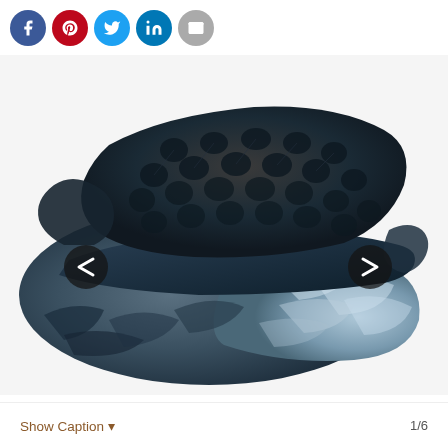[Figure (other): Social media sharing icons row: Facebook (blue), Pinterest (red), Twitter (light blue), LinkedIn (blue), Email (gray) — all circular icons]
[Figure (photo): A large sculptural sofa/settee with a tufted black leather seat back and cushion area, supported by an organic rock-like base in shades of blue-gray and light blue marble. Navigation arrows (< and >) on left and right sides of the image.]
Show Caption ▾   1/6